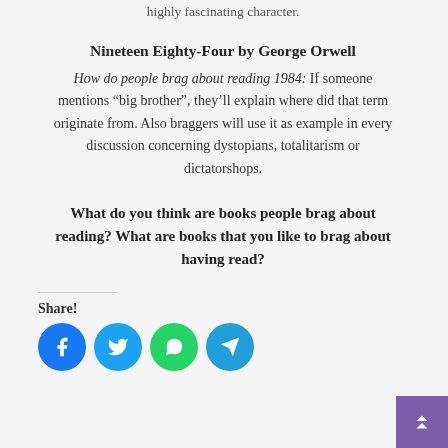highly fascinating character.
Nineteen Eighty-Four by George Orwell
How do people brag about reading 1984: If someone mentions “big brother”, they’ll explain where did that term originate from. Also braggers will use it as example in every discussion concerning dystopians, totalitarism or dictatorshops.
What do you think are books people brag about reading? What are books that you like to brag about having read?
Share!